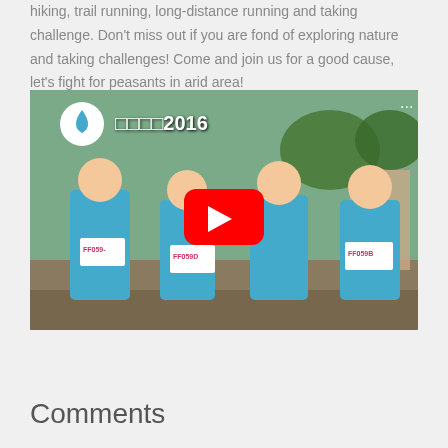hiking, trail running, long-distance running and taking challenge. Don't miss out if you are fond of exploring nature and taking challenges! Come and join us for a good cause, let's fight for peasants in arid area!
[Figure (screenshot): YouTube video thumbnail showing four runners in blue shirts with race bibs (FF059B, FF059D, etc.) giving thumbs up, with Chinese text and '2016' overlaid, and a red YouTube play button in the center.]
Comments